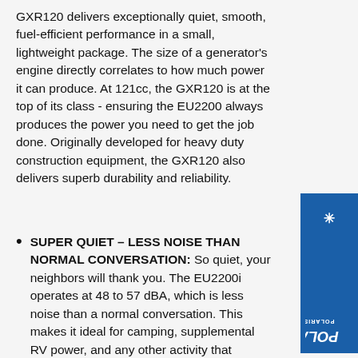GXR120 delivers exceptionally quiet, smooth, fuel-efficient performance in a small, lightweight package. The size of a generator's engine directly correlates to how much power it can produce. At 121cc, the GXR120 is at the top of its class - ensuring the EU2200 always produces the power you need to get the job done. Originally developed for heavy duty construction equipment, the GXR120 also delivers superb durability and reliability.
[Figure (logo): Polaris Pre-Order vertical banner in blue with Polaris logo, star icon, brand name, and 'POLARIS PRE-ORDER' text rotated vertically]
SUPER QUIET - LESS NOISE THAN NORMAL CONVERSATION: So quiet, your neighbors will thank you. The EU2200i operates at 48 to 57 dBA, which is less noise than a normal conversation. This makes it ideal for camping, supplemental RV power, and any other activity that requires quiet operation.